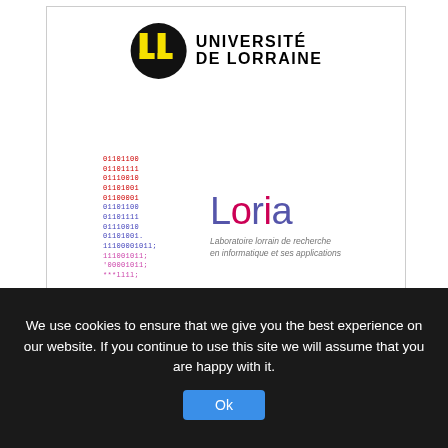[Figure (logo): Université de Lorraine logo with black circle containing yellow UL monogram and bold black text UNIVERSITE DE LORRAINE]
[Figure (logo): Loria logo with binary code column in red and blue, stylized Loria wordmark in pink/blue, subtitle: Laboratoire lorrain de recherche en informatique et ses applications]
We use cookies to ensure that we give you the best experience on our website. If you continue to use this site we will assume that you are happy with it.